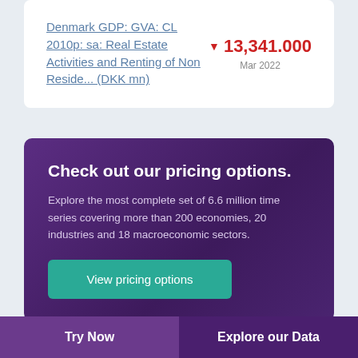Denmark GDP: GVA: CL 2010p: sa: Real Estate Activities and Renting of Non Reside... (DKK mn)
▼ 13,341.000
Mar 2022
Check out our pricing options.
Explore the most complete set of 6.6 million time series covering more than 200 economies, 20 industries and 18 macroeconomic sectors.
View pricing options
Try Now | Explore our Data